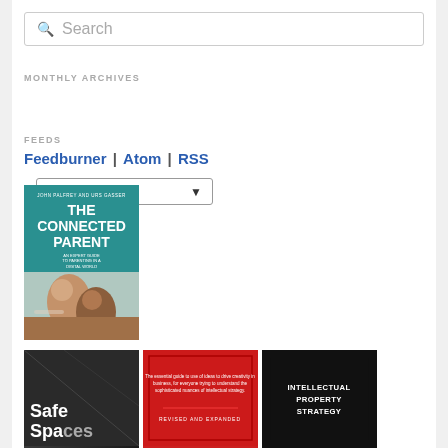[Figure (screenshot): Search input box with magnifying glass icon and placeholder text 'Search']
MONTHLY ARCHIVES
[Figure (screenshot): Dropdown select menu labeled 'Select Month' with down arrow]
FEEDS
Feedburner | Atom | RSS
[Figure (photo): Book cover: 'The Connected Parent' by John Palfrey and Urs Gasser, teal background with photo of two smiling people taking a selfie]
[Figure (photo): Book cover: 'Safe Spaces' with dark background]
[Figure (photo): Red book cover with text and border design, 'Revised and Expanded']
[Figure (photo): Book cover: 'Intellectual Property Strategy' on black background]